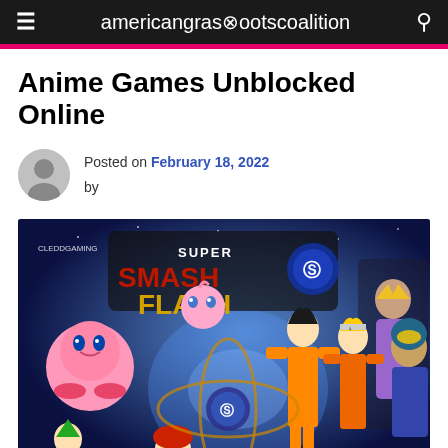americangrasrootscoalition
Anime Games Unblocked Online
Posted on February 18, 2022
by
[Figure (screenshot): Super Smash Flash game promotional image showing anime and gaming characters including Kirby, Jigglypuff, Goku, Naruto, Mario, Link, Zelda, and others on a blue space background with the text 'SUPER SMASH FLASH' prominently displayed.]